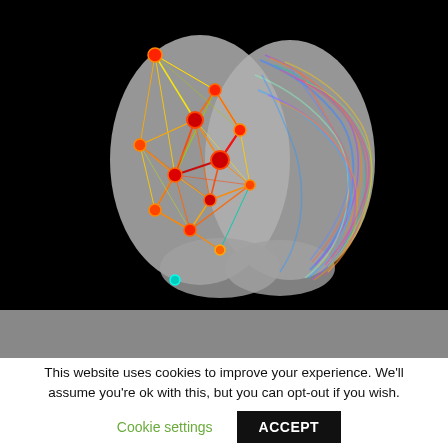[Figure (illustration): 3D brain visualization showing two hemispheres: left hemisphere with red node network graph overlaid (connected nodes with colored lines in red, yellow, green), right hemisphere with colorful tractography/diffusion tensor imaging overlay in blue, orange, purple hues. Brain rendered on black background.]
This website uses cookies to improve your experience. We'll assume you're ok with this, but you can opt-out if you wish.
Cookie settings   ACCEPT